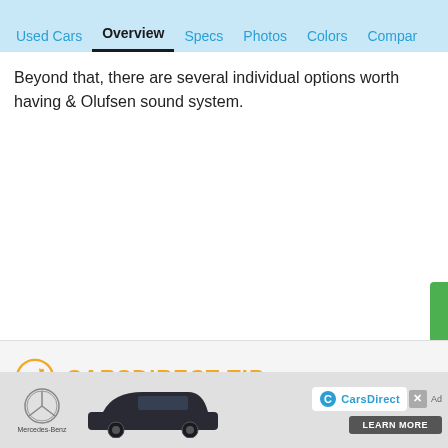Used Cars | Overview | Specs | Photos | Colors | Compare
Beyond that, there are several individual options worth having & Olufsen sound system.
The ML63 AMG is obviously well equipped from the start, t Performance Package, which doesn't add much in the way anyway.
[Figure (screenshot): CarsDirect advertisement banner at the bottom showing a Mercedes-Benz C-Class car with CarsDirect logo and Learn More button]